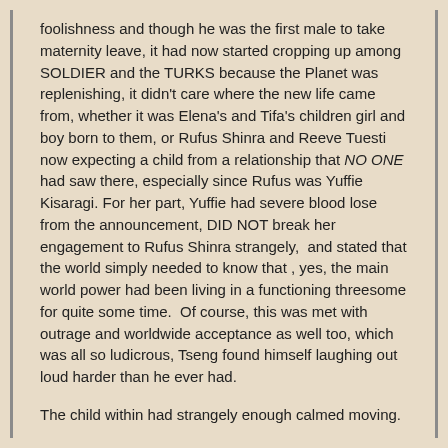foolishness and though he was the first male to take maternity leave, it had now started cropping up among SOLDIER and the TURKS because the Planet was replenishing, it didn't care where the new life came from, whether it was Elena's and Tifa's children girl and boy born to them, or Rufus Shinra and Reeve Tuesti now expecting a child from a relationship that NO ONE had saw there, especially since Rufus was Yuffie Kisaragi. For her part, Yuffie had severe blood lose from the announcement, DID NOT break her engagement to Rufus Shinra strangely,  and stated that the world simply needed to know that , yes, the main world power had been living in a functioning threesome for quite some time.  Of course, this was met with outrage and worldwide acceptance as well too, which was all so ludicrous, Tseng found himself laughing out loud harder than he ever had.
The child within had strangely enough calmed moving.
Tseng idly thought he heard the sound of spilling water or fluid as he sit at the table, his mind not